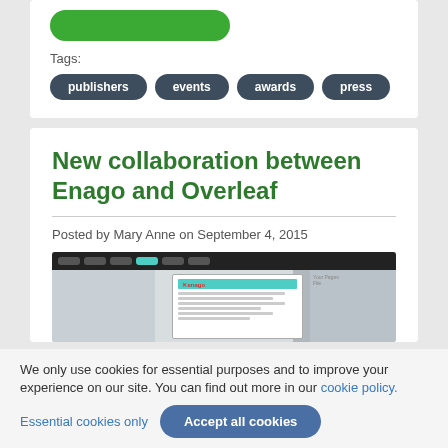[Figure (other): Green rounded button (partial, top of card)]
Tags:
publishers
events
awards
press
New collaboration between Enago and Overleaf
Posted by Mary Anne on September 4, 2015
[Figure (screenshot): Screenshot of Overleaf editor interface showing an Enago integration modal dialog]
We only use cookies for essential purposes and to improve your experience on our site. You can find out more in our cookie policy.
Essential cookies only
Accept all cookies